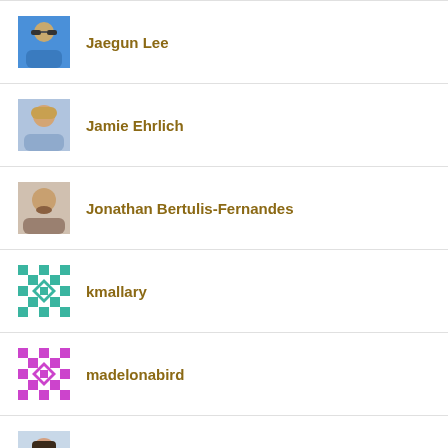Jaegun Lee
Jamie Ehrlich
Jonathan Bertulis-Fernandes
kmallary
madelonabird
Fiona Maguire